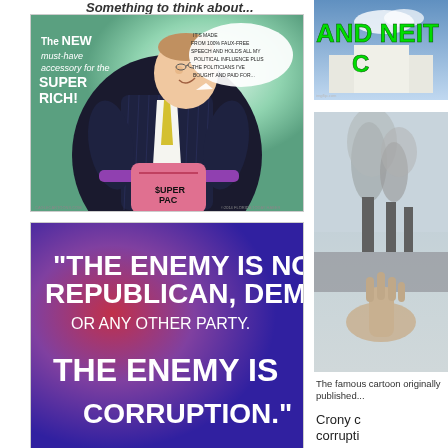Something to think about...
[Figure (illustration): Political cartoon showing a large wealthy man in a pinstripe suit wearing a 'SUPER PAC' fanny pack. Text on left reads: 'The NEW must-have accessory for the SUPER RICH!' Speech bubble says: 'IT'S MADE FROM 100% FAUX-FREE SPEECH AND HOLDS ALL MY POLITICAL INFLUENCE PLUS THE POLITICIANS I'VE BOUGHT AND PAID FOR...' Credits: CAGLECARTOONS.COM and ©2014 FLORIDA TODAY HABER]
[Figure (infographic): Meme with purple-red gradient background. Large white bold text: '"THE ENEMY IS NOT REPUBLICAN, DEMOCRAT, OR ANY OTHER PARTY. THE ENEMY IS CORRUPTION.']
[Figure (infographic): Partial image on right top showing text 'AND NEIT' in large green letters over a background with what appears to be a building and sky.]
[Figure (photo): Black and white photo showing industrial smokestacks with smoke rising, and a hand in the foreground.]
The famous cartoon originally published...
Crony corruption